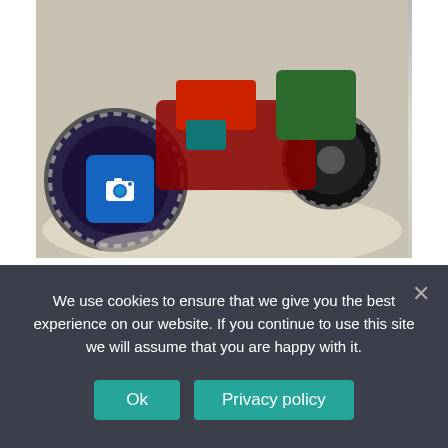[Figure (photo): Partial view of a power tiller / mini tractor with chains on wheels, colorful mechanical parts visible, with a blue camera icon overlay in the lower-left of the image.]
TILLERS
A frame for converting a power tiller into a mini tractor
How to make a minitractor from a power tiller with your own hands: a breaker, Kentavr, Zubr, Agro, Neva,
We use cookies to ensure that we give you the best experience on our website. If you continue to use this site we will assume that you are happy with it.
Ok   Privacy policy